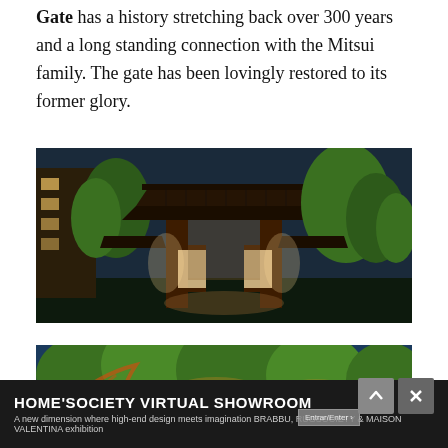Gate has a history stretching back over 300 years and a long standing connection with the Mitsui family. The gate has been lovingly restored to its former glory.
[Figure (photo): Night photograph of a traditional Japanese gate (mon) illuminated with warm lights, surrounded by green trees lit against a dark blue evening sky. Stone lanterns flank the gate entrance.]
[Figure (photo): Night photograph of Japanese garden trees illuminated with warm uplighting against a dark blue sky, with a partial view of a traditional rooftop at lower right.]
HOME'SOCIETY VIRTUAL SHOWROOM
A new dimension where high-end design meets imagination BRABBU, RUGSOCIETY & MAISON VALENTINA exhibition